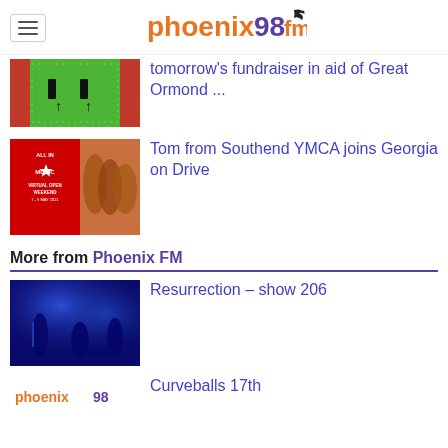phoenix 98 fm
[Figure (photo): Green and red background image with people/figures]
tomorrow's fundraiser in aid of Great Ormond ...
[Figure (photo): All In Music Virtual Open Weekend 7-9 May 2021 promotional image with group photo]
Tom from Southend YMCA joins Georgia on Drive
More from Phoenix FM
[Figure (photo): Band performing on stage with blue lighting]
Resurrection – show 206
[Figure (logo): Phoenix 98 FM logo partial]
Curveballs 17th